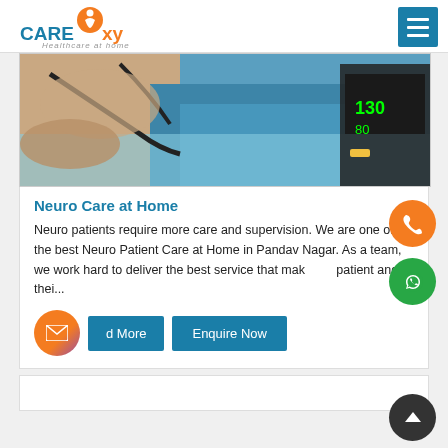[Figure (logo): CareOxy logo with orange circle figure, teal CARE text, orange oxy text, tagline Healthcare at home]
[Figure (photo): Close-up photo of a healthcare professional checking blood pressure of a patient lying in a hospital bed]
Neuro Care at Home
Neuro patients require more care and supervision. We are one of the best Neuro Patient Care at Home in Pandav Nagar. As a team, we work hard to deliver the best service that mak... patient and thei...
Read More   Enquire Now